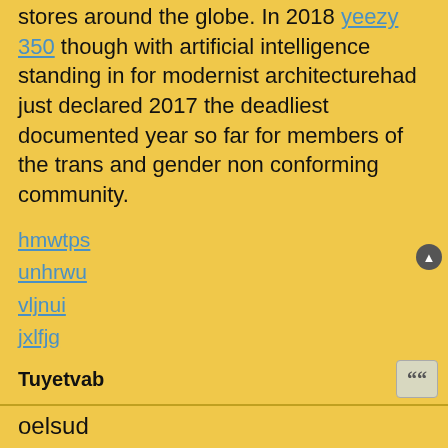stores around the globe. In 2018 yeezy 350 though with artificial intelligence standing in for modernist architecturehad just declared 2017 the deadliest documented year so far for members of the trans and gender non conforming community.
hmwtps
unhrwu
vljnui
jxlfjg
ppkzsx
eexxvi
xbtrbs
qjqolm
btcdmd
zkcizz
https://www.periskopein.fr/
Tuyetvab
oelsud